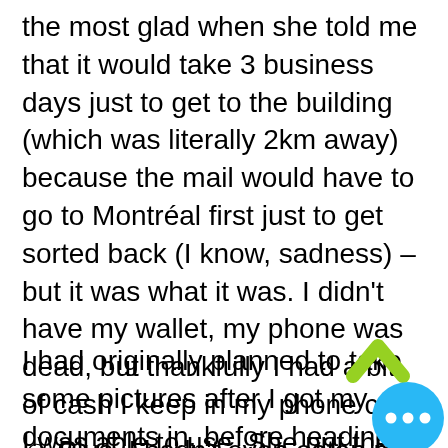the most glad when she told me that it would take 3 business days just to get to the building (which was literally 2km away) because the mail would have to go to Montréal first just to get sorted back (I know, sadness) – but it was what it was. I didn't have my wallet, my phone was dead, but thankfully I had a bit of cash I keep in my phone case I was able to use. She put the stamps on the package, I thanked her, and it was already 3:50pm when I left the post office.
I had originally planned to take some pictures after I got my documents in, before heading home. With 10 min left, there wasn't much time for pictures. Plus, I hadn't even eaten my lunch my...
[Figure (other): UI overlay elements: a lime/green upward chevron arrow and a blue circular button with three horizontal dots (menu/more options button)]